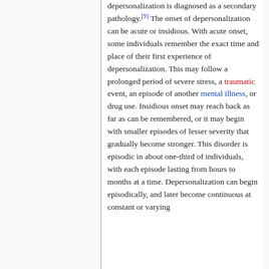depersonalization is diagnosed as a secondary pathology.[9] The onset of depersonalization can be acute or insidious. With acute onset, some individuals remember the exact time and place of their first experience of depersonalization. This may follow a prolonged period of severe stress, a traumatic event, an episode of another mental illness, or drug use. Insidious onset may reach back as far as can be remembered, or it may begin with smaller episodes of lesser severity that gradually become stronger. This disorder is episodic in about one-third of individuals, with each episode lasting from hours to months at a time. Depersonalization can begin episodically, and later become continuous at constant or varying